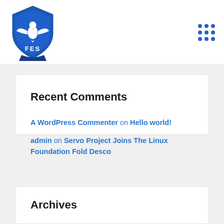FES logo and navigation menu
Recent Comments
A WordPress Commenter on Hello world!
admin on Servo Project Joins The Linux Foundation Fold Desco
Archives